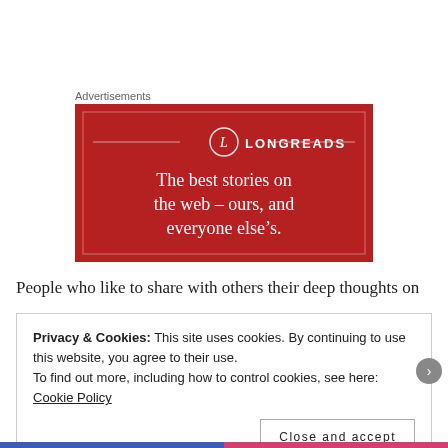Advertisements
[Figure (logo): Longreads advertisement banner with red background. Shows the Longreads logo (circle with letter L) and tagline: The best stories on the web – ours, and everyone else's.]
People who like to share with others their deep thoughts on
Privacy & Cookies: This site uses cookies. By continuing to use this website, you agree to their use.
To find out more, including how to control cookies, see here: Cookie Policy
Close and accept